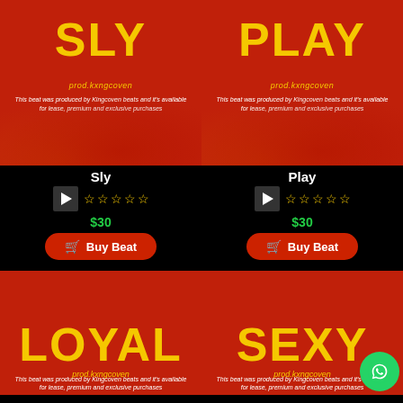[Figure (illustration): Beat thumbnail for 'SLY' - red/orange smoky background with large yellow text SLY and prod.kxngcoven credit]
[Figure (illustration): Beat thumbnail for 'PLAY' - red/orange smoky background with large yellow text PLAY and prod.kxngcoven credit]
Sly
☆☆☆☆☆
$30
Buy Beat
Play
☆☆☆☆☆
$30
Buy Beat
[Figure (illustration): Beat thumbnail for 'LOYAL' - red/orange smoky background with large yellow text LOYAL and prod.kxngcoven credit]
[Figure (illustration): Beat thumbnail for 'SEXY' - red/orange smoky background with large yellow text SEXY and prod.kxngcoven credit, with WhatsApp bubble icon]